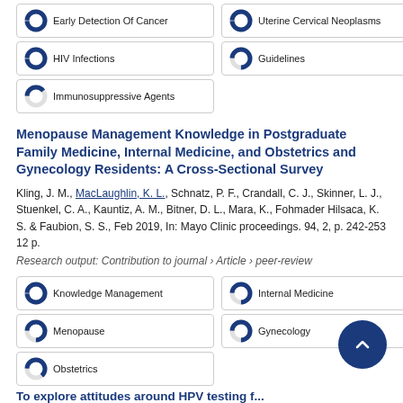[Figure (donut-chart): Nearly full circle donut for Early Detection Of Cancer ~100%]
[Figure (donut-chart): Nearly full circle donut for Uterine Cervical Neoplasms ~100%]
[Figure (donut-chart): Nearly full circle donut for HIV Infections ~100%]
[Figure (donut-chart): ~75% donut for Guidelines]
[Figure (donut-chart): ~40% donut for Immunosuppressive Agents]
Menopause Management Knowledge in Postgraduate Family Medicine, Internal Medicine, and Obstetrics and Gynecology Residents: A Cross-Sectional Survey
Kling, J. M., MacLaughlin, K. L., Schnatz, P. F., Crandall, C. J., Skinner, L. J., Stuenkel, C. A., Kauntiz, A. M., Bitner, D. L., Mara, K., Fohmader Hilsaca, K. S. & Faubion, S. S., Feb 2019, In: Mayo Clinic proceedings. 94, 2, p. 242-253 12 p.
Research output: Contribution to journal › Article › peer-review
[Figure (donut-chart): Nearly full circle donut for Knowledge Management ~100%]
[Figure (donut-chart): ~75% donut for Internal Medicine]
[Figure (donut-chart): ~75% donut for Menopause]
[Figure (donut-chart): ~75% donut for Gynecology]
[Figure (donut-chart): ~65% donut for Obstetrics]
To explore attitudes around HPV testing f...